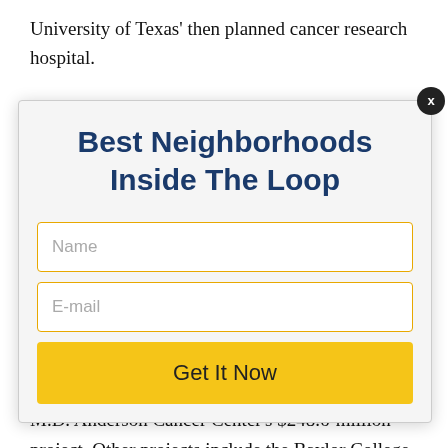University of Texas' then planned cancer research hospital.
[Figure (screenshot): Modal popup with title 'Best Neighborhoods Inside The Loop', a Name input field, an E-mail input field, and a 'Get It Now' button. A close (X) button appears in the top-right corner.]
Center Area started with The University of Texas M.D. Anderson Cancer Center's $248.6-million project. Other projects include the Baylor College of Medicine's The Baylor Clinic, the expansion of the Texas Children's Hospital, and the Memorial